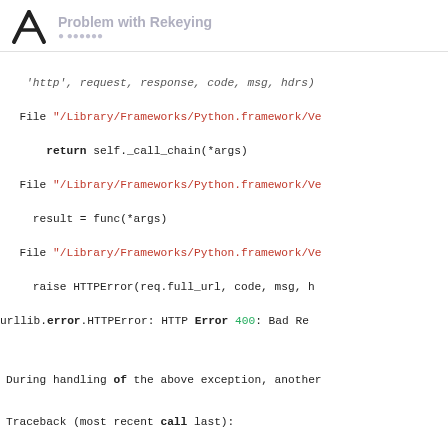Problem with Rekeying
'http', request, response, code, msg, hdrs)
  File "/Library/Frameworks/Python.framework/Ve
      return self._call_chain(*args)
  File "/Library/Frameworks/Python.framework/Ve
    result = func(*args)
  File "/Library/Frameworks/Python.framework/Ve
    raise HTTPError(req.full_url, code, msg, h
urllib.error.HTTPError: HTTP Error 400: Bad Re
During handling of the above exception, another
Traceback (most recent call last):
  File "rekey.py", line 53, in <module>
      txinfo = sign_and_send(txn, passphrase, cli
  File "rekey.py", line 46, in sign_and_send
It appears the rekey worked despite the return error because there was a transaction made (TXID). How to why the error was produced, given the s